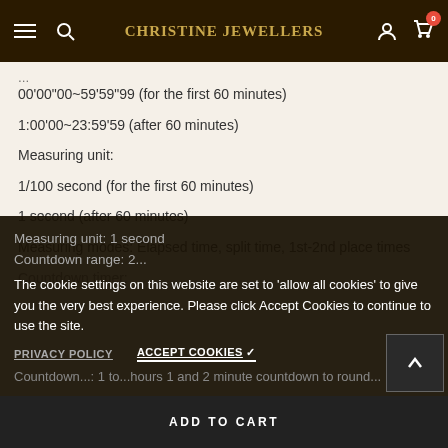Christine Jewellers
00'00"00~59'59"99 (for the first 60 minutes)
1:00'00~23:59'59 (after 60 minutes)
Measuring unit:
1/100 second (for the first 60 minutes)
1 second (after 60 minutes)
Measuring modes: Elapsed time, split time, 1st-2nd place times
Countdown timer:
Measuring unit: 1 second
Countdown range: 2...
Countdown modes: 1 to...hours 1 and 2 minute countdown to round in...and...allow...
The cookie settings on this website are set to 'allow all cookies' to give you the very best experience. Please click Accept Cookies to continue to use the site.
PRIVACY POLICY    ACCEPT COOKIES ✓
ADD TO CART